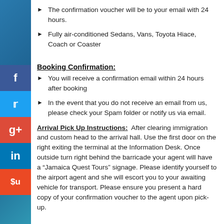The confirmation voucher will be to your email with 24 hours.
Fully air-conditioned Sedans, Vans, Toyota Hiace, Coach or Coaster
Booking Confirmation:
You will receive a confirmation email within 24 hours after booking
In the event that you do not receive an email from us, please check your Spam folder or notify us via email.
Arrival Pick Up Instructions:
After clearing immigration and custom head to the arrival hall. Use the first door on the right exiting the terminal at the Information Desk. Once outside turn right behind the barricade your agent will have a "Jamaica Quest Tours" signage. Please identify yourself to the airport agent and she will escort you to your awaiting vehicle for transport. Please ensure you present a hard copy of your confirmation voucher to the agent upon pick-up.